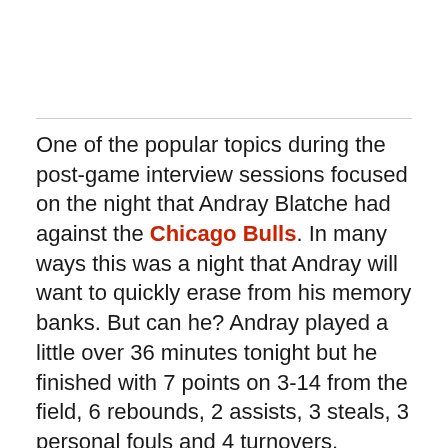One of the popular topics during the post-game interview sessions focused on the night that Andray Blatche had against the Chicago Bulls. In many ways this was a night that Andray will want to quickly erase from his memory banks. But can he? Andray played a little over 36 minutes tonight but he finished with 7 points on 3-14 from the field, 6 rebounds, 2 assists, 3 steals, 3 personal fouls and 4 turnovers.
Andray Blatche's night seemed to get off on the wrong foot from nearly the start of the game. With about 8:30 remaining in the 1st quarter Andray picked off a pass and had what looked to be an easy two. However as he attempted to score the ball slipped from his hand,